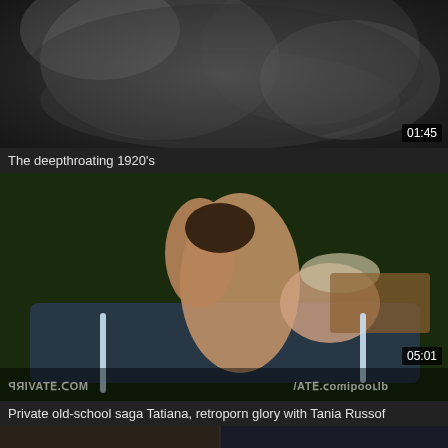[Figure (screenshot): Black and white video thumbnail showing two figures, duration badge 01:45]
The deepthroating 1920's
[Figure (screenshot): Color video thumbnail of two people on a boat on dark water, with PRIVATE.COM watermarks mirrored, duration badge 05:01]
Private old-school saga Tatiana, retroporn glory with Tania Russof
[Figure (screenshot): Partial strip of a third video thumbnail at bottom, partially visible]